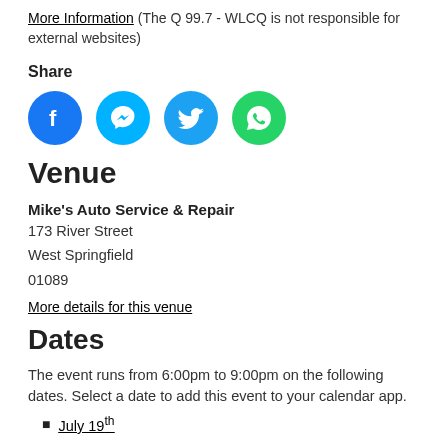More Information (The Q 99.7 - WLCQ is not responsible for external websites)
Share
[Figure (other): Social share icons: Facebook, Messenger, Twitter, WhatsApp]
Venue
Mike's Auto Service & Repair
173 River Street
West Springfield
01089
More details for this venue
Dates
The event runs from 6:00pm to 9:00pm on the following dates. Select a date to add this event to your calendar app.
July 19th